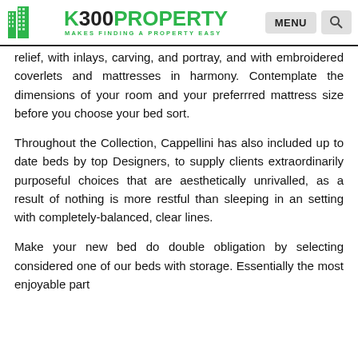K300PROPERTY — MAKES FINDING A PROPERTY EASY
relief, with inlays, carving, and portray, and with embroidered coverlets and mattresses in harmony. Contemplate the dimensions of your room and your preferrred mattress size before you choose your bed sort.
Throughout the Collection, Cappellini has also included up to date beds by top Designers, to supply clients extraordinarily purposeful choices that are aesthetically unrivalled, as a result of nothing is more restful than sleeping in an setting with completely-balanced, clear lines.
Make your new bed do double obligation by selecting considered one of our beds with storage. Essentially the most enjoyable part